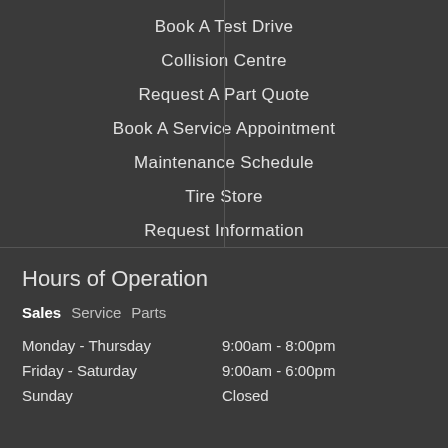Book A Test Drive
Collision Centre
Request A Part Quote
Book A Service Appointment
Maintenance Schedule
Tire Store
Request Information
Hours of Operation
Sales  Service  Parts
| Day | Hours |
| --- | --- |
| Monday - Thursday | 9:00am - 8:00pm |
| Friday - Saturday | 9:00am - 6:00pm |
| Sunday | Closed |